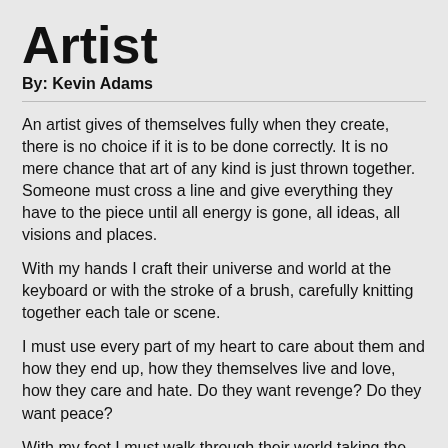Artist
By: Kevin Adams
An artist gives of themselves fully when they create, there is no choice if it is to be done correctly. It is no mere chance that art of any kind is just thrown together. Someone must cross a line and give everything they have to the piece until all energy is gone, all ideas, all visions and places.
With my hands I craft their universe and world at the keyboard or with the stroke of a brush, carefully knitting together each tale or scene.
I must use every part of my heart to care about them and how they end up, how they themselves live and love, how they care and hate. Do they want revenge? Do they want peace?
With my feet I must walk through their world taking the same steps they do, whether they be filled with danger or otherwise.